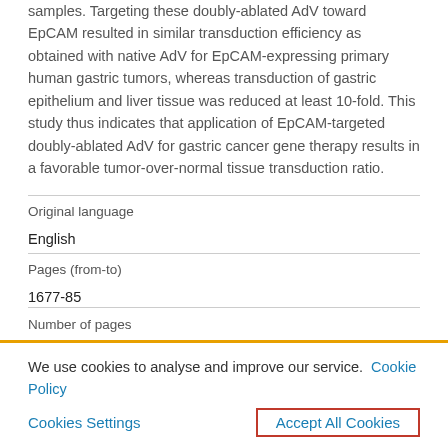samples. Targeting these doubly-ablated AdV toward EpCAM resulted in similar transduction efficiency as obtained with native AdV for EpCAM-expressing primary human gastric tumors, whereas transduction of gastric epithelium and liver tissue was reduced at least 10-fold. This study thus indicates that application of EpCAM-targeted doubly-ablated AdV for gastric cancer gene therapy results in a favorable tumor-over-normal tissue transduction ratio.
| Original language |  |
| English |  |
| Pages (from-to) |  |
| 1677-85 |  |
| Number of pages |  |
We use cookies to analyse and improve our service. Cookie Policy
Cookies Settings    Accept All Cookies